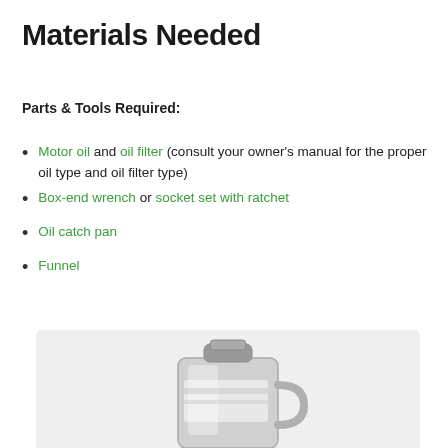Materials Needed
Parts & Tools Required:
Motor oil and oil filter (consult your owner's manual for the proper oil type and oil filter type)
Box-end wrench or socket set with ratchet
Oil catch pan
Funnel
[Figure (photo): Photo of a motor oil jug/container, silver/grey colored, partially visible at the bottom of the page inside a light grey rounded box]